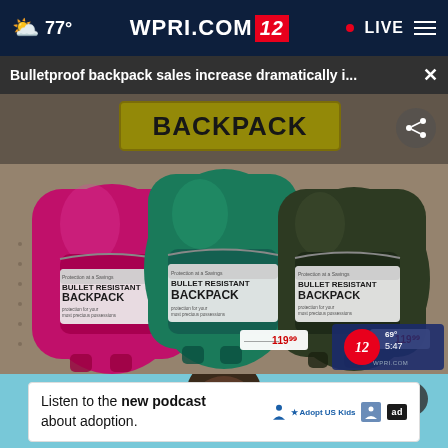77° WPRI.COM 12 • LIVE
Bulletproof backpack sales increase dramatically i...
[Figure (photo): Three bulletproof/bullet resistant backpacks displayed on store shelf — one pink/magenta, one teal/green, one dark olive/green — each with tags reading 'BULLET RESISTANT BACKPACK'. Yellow 'BACKPACK' store sign visible above. Price tag showing 119.99 visible. WPRI 12 watermark in lower right corner showing 69° and 5:47.]
[Figure (photo): Partial view of a person below advertisement bar, head visible in lower section with teal background.]
Listen to the new podcast about adoption.
[Figure (logo): Adopt US Kids logo with person icon and HHS shield logo, and ad badge icon.]